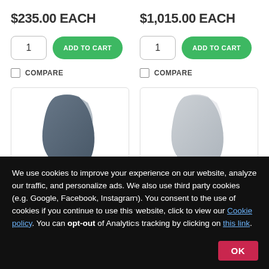$235.00 EACH
$1,015.00 EACH
1 | ADD TO CART (left column)
1 | ADD TO CART (right column)
COMPARE (left)
COMPARE (right)
[Figure (photo): Dark blue-gray chair backrest, partially visible]
[Figure (photo): Light gray chair backrest, partially visible]
We use cookies to improve your experience on our website, analyze our traffic, and personalize ads. We also use third party cookies (e.g. Google, Facebook, Instagram). You consent to the use of cookies if you continue to use this website, click to view our Cookie policy. You can opt-out of Analytics tracking by clicking on this link.